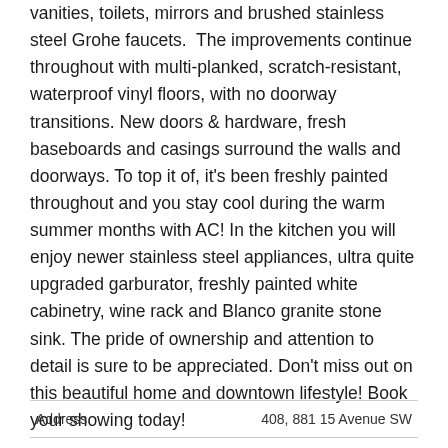vanities, toilets, mirrors and brushed stainless steel Grohe faucets.  The improvements continue throughout with multi-planked, scratch-resistant, waterproof vinyl floors, with no doorway transitions. New doors & hardware, fresh baseboards and casings surround the walls and doorways. To top it of, it's been freshly painted throughout and you stay cool during the warm summer months with AC! In the kitchen you will enjoy newer stainless steel appliances, ultra quite upgraded garburator, freshly painted white cabinetry, wine rack and Blanco granite stone sink. The pride of ownership and attention to detail is sure to be appreciated. Don't miss out on this beautiful home and downtown lifestyle! Book your showing today!
| Address | 408, 881 15 Avenue SW |
| --- | --- |